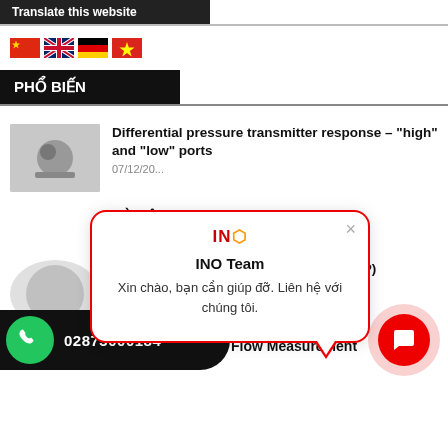Translate this website
[Figure (illustration): Four country flags: China, UK, Germany, Vietnam]
PHỔ BIẾN
Differential pressure transmitter response – "high" and "low" ports
07/12/20...
CỜ LÊ L... TORQU...
30/03/20...
[Figure (screenshot): INO Team chat popup with message: Xin chào, bạn cần giúp đỡ. Liên hệ với chúng tôi.]
Optical Spectrum Analyzers (FTB-5...-BP)
...19
Principle of Mass Flow Measurement